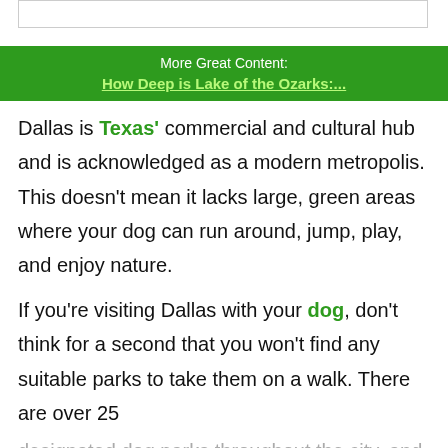[Figure (other): Top partial image placeholder, white box with gray border]
More Great Content:
How Deep is Lake of the Ozarks:...
Dallas is Texas' commercial and cultural hub and is acknowledged as a modern metropolis. This doesn't mean it lacks large, green areas where your dog can run around, jump, play, and enjoy nature.
If you're visiting Dallas with your dog, don't think for a second that you won't find any suitable parks to take them on a walk. There are over 25
designated dog parks throughout the city, and they're just waiting to be discovered. We thought...